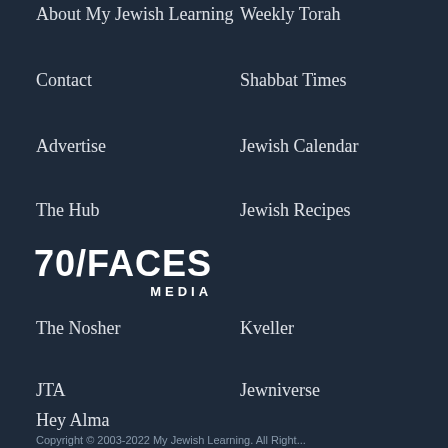About My Jewish Learning
Weekly Torah
Contact
Shabbat Times
Advertise
Jewish Calendar
The Hub
Jewish Recipes
[Figure (logo): 70/FACES MEDIA logo in white text on dark navy background]
The Nosher
Kveller
JTA
Jewniverse
Hey Alma
Copyright © 2003-2022 My Jewish Learning. All Right...